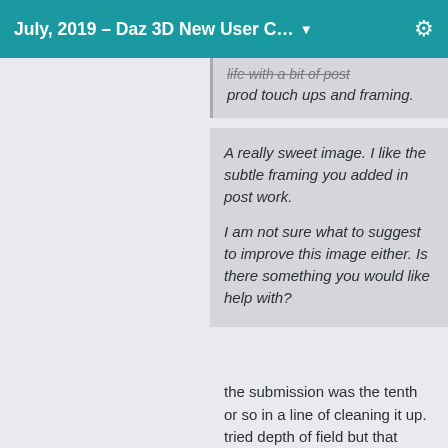July, 2019 – Daz 3D New User C… ▾
life with a bit of post prod touch ups and framing.
A really sweet image.  I like the subtle framing you added in post work.

I am not sure what to suggest to improve this image either.  Is there something you would like help with?
the submission was the tenth or so in a line of cleaning it up. tried depth of field but that